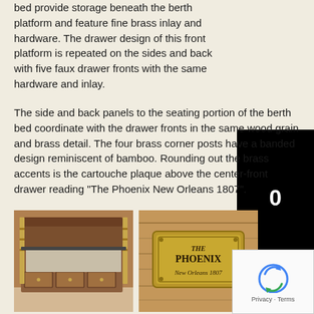bed provide storage beneath the berth platform and feature fine brass inlay and hardware. The drawer design of this front platform is repeated on the sides and back with five faux drawer fronts with the same hardware and inlay.
The side and back panels to the seating portion of the berth bed coordinate with the drawer fronts in the same wood grain and brass detail. The four brass corner posts have a banded design reminiscent of bamboo. Rounding out the brass accents is the cartouche plaque above the center-front drawer reading “The Phoenix New Orleans 1807”.
[Figure (photo): Photo of a wooden berth bed with brass corner posts and drawer storage beneath]
[Figure (photo): Close-up photo of a brass cartouche plaque reading 'The Phoenix New Orleans 1807' on wood paneling]